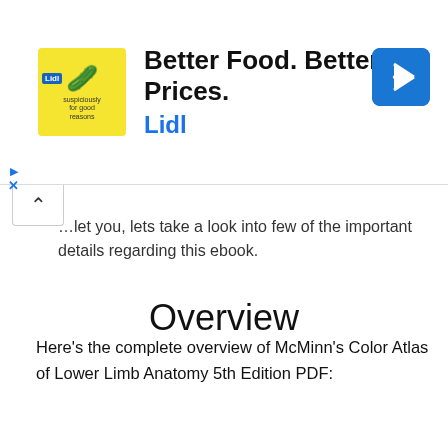[Figure (screenshot): Advertisement banner for Lidl: 'Better Food. Betterer Prices. Lidl' with yellow logo box and navigation icon]
…let you, lets take a look into few of the important details regarding this ebook.
Overview
Here's the complete overview of McMinn's Color Atlas of Lower Limb Anatomy 5th Edition PDF:
Understand foot, ankle and lower limb anatomy visually and clinically.
McMinn's Color Atlas of Lower Limb Anatomy is the ideal study aid or trusted visual reference for the range of students and practitioners who require a detailed understanding of the